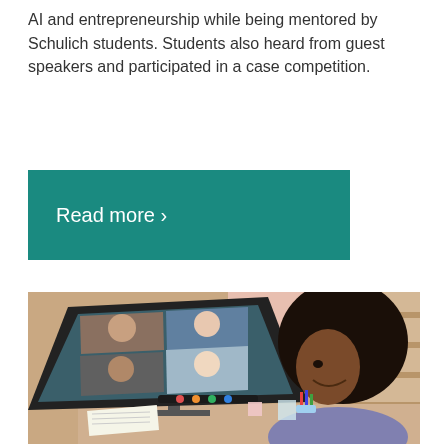AI and entrepreneurship while being mentored by Schulich students. Students also heard from guest speakers and participated in a case competition.
Read more ›
[Figure (photo): A smiling young woman with curly hair sitting at a desk looking at a computer monitor showing a video call with multiple participants. Shelves and a warm background are visible behind the monitor.]